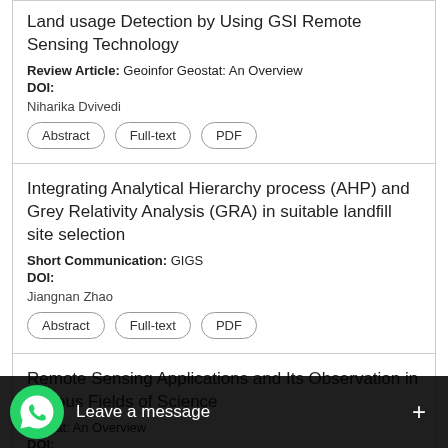Land usage Detection by Using GSI Remote Sensing Technology
Review Article: Geoinfor Geostat: An Overview
DOI:
Niharika Dvivedi
Integrating Analytical Hierarchy process (AHP) and Grey Relativity Analysis (GRA) in suitable landfill site selection
Short Communication: GIGS
DOI:
Jiangnan Zhao
Remote Sensing Applications and Its Observation in Various Fields of Science
...ostat: An Overview
DOI:
Niha...
[Figure (screenshot): WhatsApp 'Leave a message' overlay at bottom of screen]